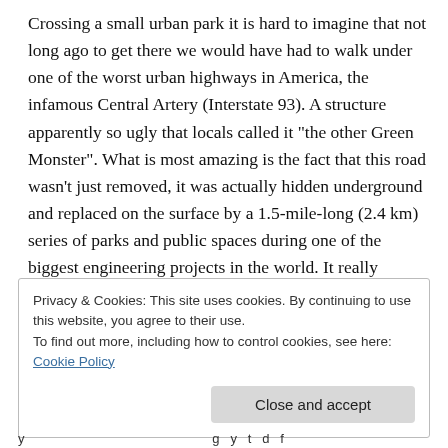Crossing a small urban park it is hard to imagine that not long ago to get there we would have had to walk under one of the worst urban highways in America, the infamous Central Artery (Interstate 93). A structure apparently so ugly that locals called it “the other Green Monster”. What is most amazing is the fact that this road wasn’t just removed, it was actually hidden underground and replaced on the surface by a 1.5-mile-long (2.4 km) series of parks and public spaces during one of the biggest engineering projects in the world. It really changed Boston for the better. The once isolated North End became integrated with the rest of city.
Privacy & Cookies: This site uses cookies. By continuing to use this website, you agree to their use.
To find out more, including how to control cookies, see here: Cookie Policy
Close and accept